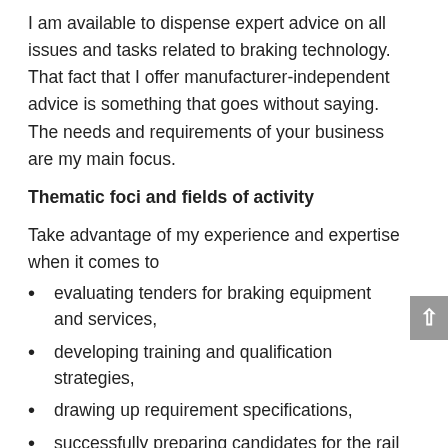I am available to dispense expert advice on all issues and tasks related to braking technology. That fact that I offer manufacturer-independent advice is something that goes without saying. The needs and requirements of your business are my main focus.
Thematic foci and fields of activity
Take advantage of my experience and expertise when it comes to
evaluating tenders for braking equipment and services,
developing training and qualification strategies,
drawing up requirement specifications,
successfully preparing candidates for the rail operation manager test (EBL-Prüfung).